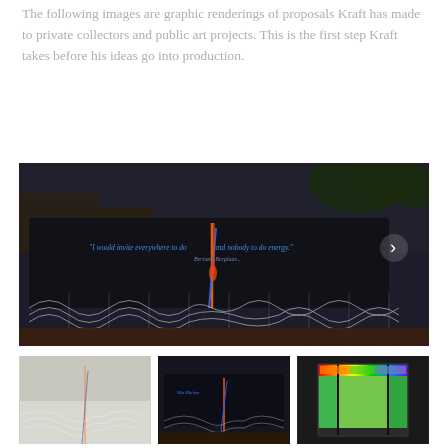The following images are graphic renderings of proposals Kraft has made to private collectors and public art projects. This is the first step Kraft takes before his ideas go into production.
[Figure (photo): A dark photographic rendering showing a billboard or large outdoor art installation at dusk. The billboard displays blue glowing text and an abstract flame-like vertical element in blue and orange. White wave/net patterns extend from the bottom. A navigation arrow is visible on the right side.]
[Figure (photo): Thumbnail: Light-colored artistic rendering showing a similar wave/net pattern on a light background with subtle color elements, a smaller version of the main artwork.]
[Figure (photo): Thumbnail: Dark rendering showing a rectangular block with blue text and a vertical flame-like element in blue and orange, with white wave patterns below.]
[Figure (photo): Thumbnail: A glowing lantern-like box structure with green, yellow, and rainbow-colored panels on a dark frame.]